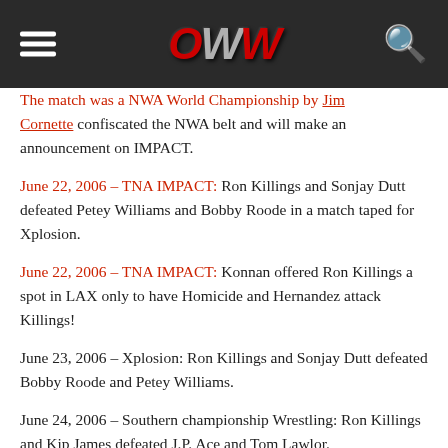OWW
The match was a NWA World Championship by Jim Cornette confiscated the NWA belt and will make an announcement on IMPACT.
June 22, 2006 – TNA IMPACT: Ron Killings and Sonjay Dutt defeated Petey Williams and Bobby Roode in a match taped for Xplosion.
June 22, 2006 – TNA IMPACT: Konnan offered Ron Killings a spot in LAX only to have Homicide and Hernandez attack Killings!
June 23, 2006 – Xplosion: Ron Killings and Sonjay Dutt defeated Bobby Roode and Petey Williams.
June 24, 2006 – Southern championship Wrestling: Ron Killings and Kip James defeated J.P. Ace and Tom Lawlor.
July 16, 2006 – TNA Victory Road: LAX (Homicide and Hernandez w/Konnan) defeated Ron Killings and Sonjay Dutt.